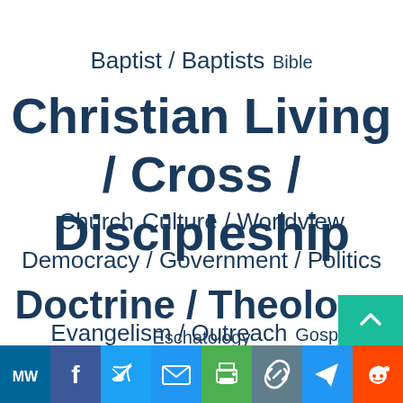Baptist / Baptists  Bible
Christian Living / Cross / Discipleship
Church  Culture / Worldview
Democracy / Government / Politics
Doctrine / Theology  Eschatology
Evangelism / Outreach  Gospel
History / Story / Narrative  Methodology